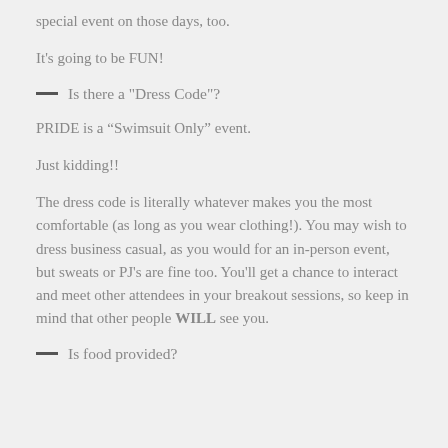special event on those days, too.
It's going to be FUN!
— Is there a "Dress Code"?
PRIDE is a “Swimsuit Only” event.
Just kidding!!
The dress code is literally whatever makes you the most comfortable (as long as you wear clothing!). You may wish to dress business casual, as you would for an in-person event, but sweats or PJ's are fine too. You'll get a chance to interact and meet other attendees in your breakout sessions, so keep in mind that other people WILL see you.
— Is food provided?